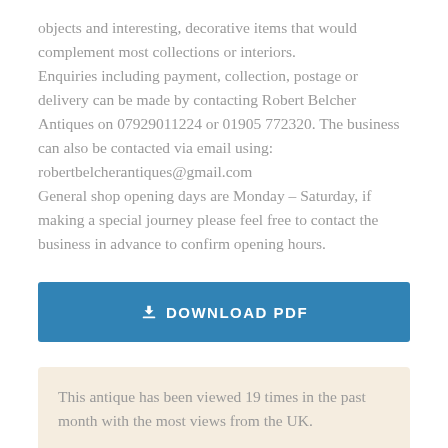objects and interesting, decorative items that would complement most collections or interiors. Enquiries including payment, collection, postage or delivery can be made by contacting Robert Belcher Antiques on 07929011224 or 01905 772320. The business can also be contacted via email using: robertbelcherantiques@gmail.com General shop opening days are Monday – Saturday, if making a special journey please feel free to contact the business in advance to confirm opening hours.
[Figure (other): Download PDF button in blue with download icon and text 'DOWNLOAD PDF']
This antique has been viewed 19 times in the past month with the most views from the UK.